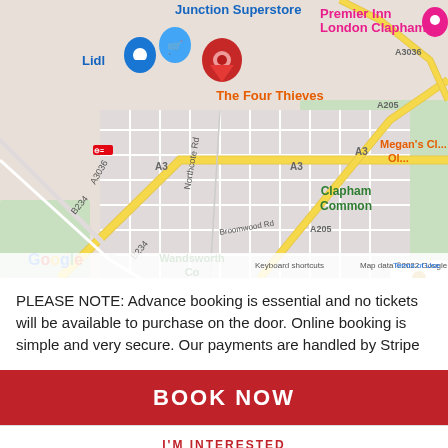[Figure (map): Google Maps screenshot showing The Four Thieves pub near Clapham Common, London. Shows road networks including A3, A3036, A205, B234, roads like Northcote Rd and Broomwood Rd, landmarks including Lidl, Junction Superstore, Premier Inn London Clapham, Megan's, Clapham Common, Wandsworth. Red location pin marks The Four Thieves. Google logo and map data copyright 2022 visible at bottom.]
PLEASE NOTE: Advance booking is essential and no tickets will be available to purchase on the door. Online booking is simple and very secure. Our payments are handled by Stripe
[Figure (other): Red BOOK NOW button]
[Figure (other): I'M INTERESTED button with red text on white background]